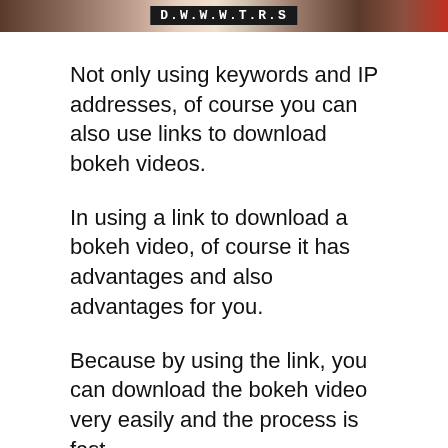[Figure (photo): Partial image strip at top of page showing a blurred/bokeh photo with a dark overlay text banner in the center]
Not only using keywords and IP addresses, of course you can also use links to download bokeh videos.
In using a link to download a bokeh video, of course it has advantages and also advantages for you.
Because by using the link, you can download the bokeh video very easily and the process is fast.
So any type of video with any duration, you can download it very quickly and the process is fast.
For that, you can immediately look for the